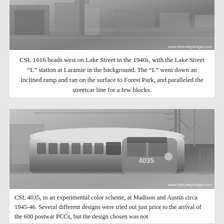[Figure (photo): Black and white photograph of CSL 1616 streetcar heading west on Lake Street in the 1940s, with the Lake Street L station at Laramie visible in the background. Watermark: www.thetrolleydodger.com]
CSL 1616 heads west on Lake Street in the 1940s, with the Lake Street “L” station at Laramie in the background. The “L” went down an inclined ramp and ran on the surface to Forest Park, and paralleled the streetcar line for a few blocks.
[Figure (photo): Black and white photograph of CSL 4035 streetcar (PCC car) in an experimental color scheme at Madison and Austin circa 1945-46. Watermark: www.thetrolleydodger.com]
CSL 4035, in an experimental color scheme, at Madison and Austin circa 1945-46. Several different designs were tried out just prior to the arrival of the 600 postwar PCCs, but the design chosen was not